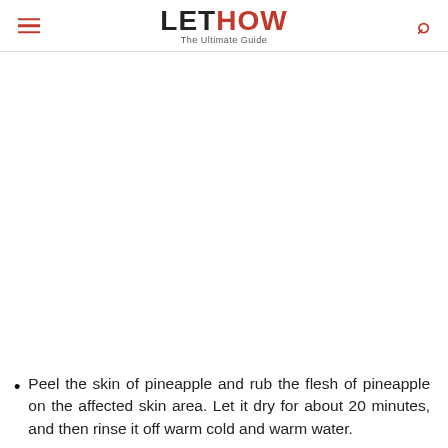LETHOW The Ultimate Guide
Peel the skin of pineapple and rub the flesh of pineapple on the affected skin area. Let it dry for about 20 minutes, and then rinse it off warm cold and warm water.